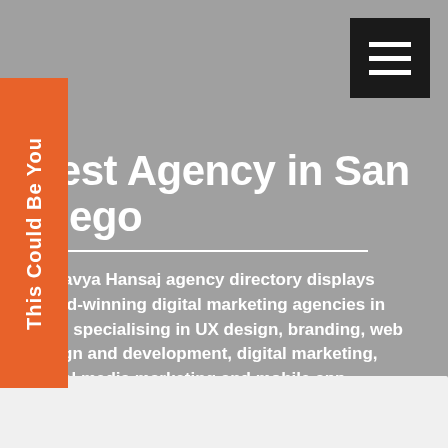[Figure (other): Dark hamburger menu button with three white horizontal lines, positioned top right]
Best Agency in San Diego
Ekalavya Hansaj agency directory displays award-winning digital marketing agencies in USA, specialising in UX design, branding, web design and development, digital marketing, social media marketing and mobile app development services.
This Could Be You